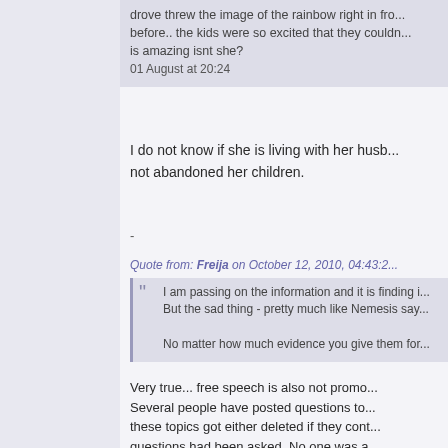drove threw the image of the rainbow right in fro... before.. the kids were so excited that they couldn... is amazing isnt she?
01 August at 20:24
I do not know if she is living with her husb... not abandoned her children.
-
Quote from: Freija on October 12, 2010, 04:43:2...
I am passing on the information and it is finding i... But the sad thing - pretty much like Nemesis say...

No matter how much evidence you give them for...
Very true... free speech is also not promo... Several people have posted questions to... these topics got either deleted if they cont... questions had been asked. No one was a...
-
Quote from: Kathryn on October 12, 2010, 04:47...